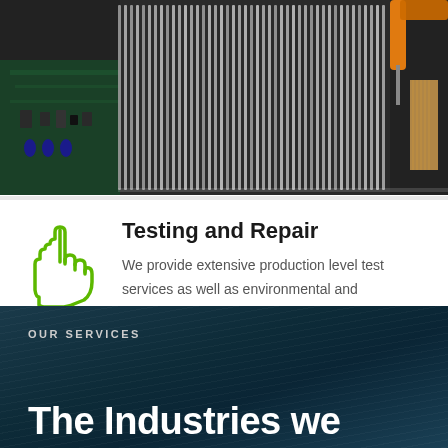[Figure (photo): Close-up photo of electronic circuit board with a heat sink (metal fins) and someone using a screwdriver or tool on it, with orange-handled pliers visible in background]
Testing and Repair
We provide extensive production level test services as well as environmental and investigative testing to provide complete end to end solutions for our clients.
OUR SERVICES
The Industries we